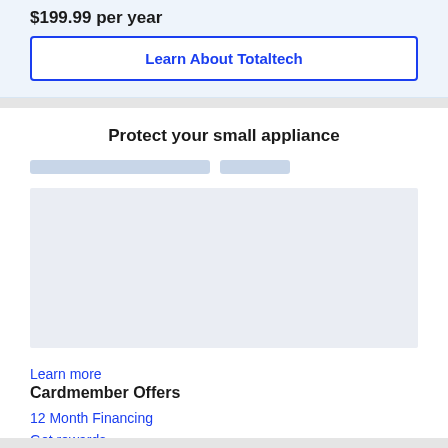$199.99 per year
Learn About Totaltech
Protect your small appliance
[Figure (other): Placeholder image area for small appliance protection product]
Learn more
Cardmember Offers
12 Month Financing
Get rewards